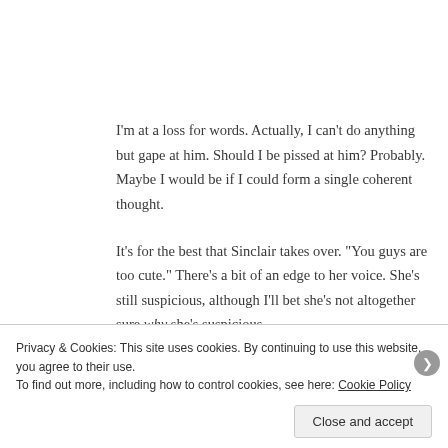I'm at a loss for words. Actually, I can't do anything but gape at him. Should I be pissed at him? Probably. Maybe I would be if I could form a single coherent thought.
It's for the best that Sinclair takes over. "You guys are too cute." There's a bit of an edge to her voice. She's still suspicious, although I'll bet she's not altogether sure why she's suspicious.
Privacy & Cookies: This site uses cookies. By continuing to use this website, you agree to their use.
To find out more, including how to control cookies, see here: Cookie Policy
Close and accept